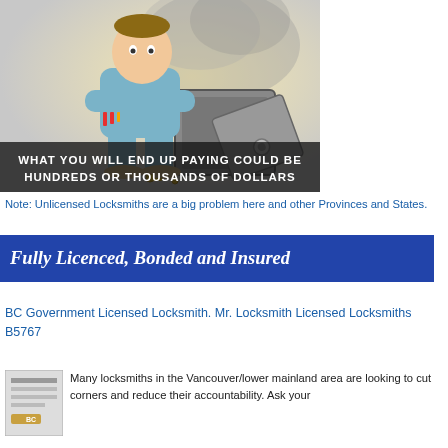[Figure (illustration): Cartoon illustration of a locksmith standing with arms crossed next to a blown-open safe with smoke, text overlay reads: WHAT YOU WILL END UP PAYING COULD BE HUNDREDS OR THOUSANDS OF DOLLARS]
Note: Unlicensed Locksmiths are a big problem here and other Provinces and States.
Fully Licenced, Bonded and Insured
BC Government Licensed Locksmith. Mr. Locksmith Licensed Locksmiths B5767
Many locksmiths in the Vancouver/lower mainland area are looking to cut corners and reduce their accountability. Ask your